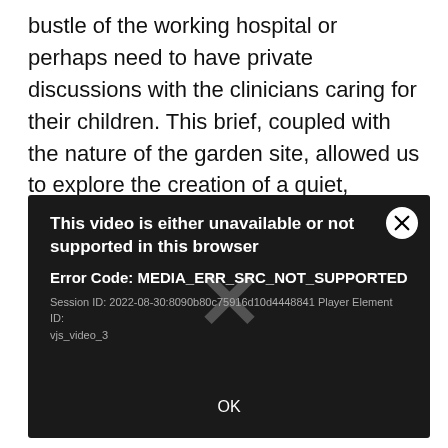bustle of the working hospital or perhaps need to have private discussions with the clinicians caring for their children. This brief, coupled with the nature of the garden site, allowed us to explore the creation of a quiet, contemplative garden in contrast with the buildings and daily workings of the hospital.
[Figure (screenshot): Video player error dialog on dark background showing: 'This video is either unavailable or not supported in this browser' with Error Code: MEDIA_ERR_SRC_NOT_SUPPORTED, Session ID: 2022-08-30:8090b80c75916d10d4448841 Player Element ID: vjs_video_3, and an OK button. A large X watermark appears in the center. A close (X) button is in the top-right corner.]